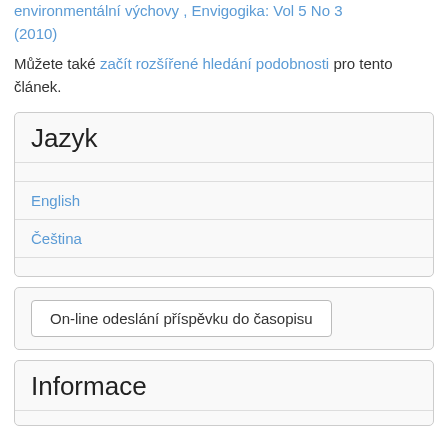environmentální výchovy , Envigogika: Vol 5 No 3 (2010)
Můžete také začít rozšířené hledání podobnosti pro tento článek.
Jazyk
English
Čeština
On-line odeslání příspěvku do časopisu
Informace